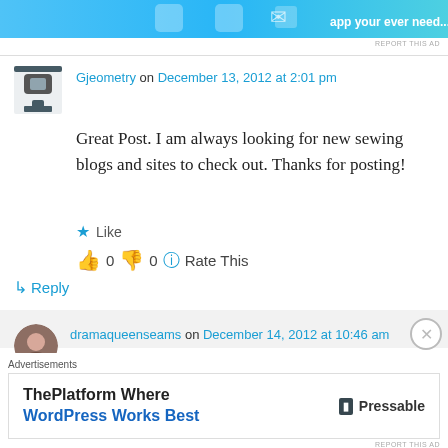[Figure (illustration): Top banner advertisement with blue gradient background and cartoon characters]
REPORT THIS AD
Gjeometry on December 13, 2012 at 2:01 pm
Great Post. I am always looking for new sewing blogs and sites to check out. Thanks for posting!
★ Like
👍 0 👎 0 ℹ Rate This
↳ Reply
dramaqueenseams on December 14, 2012 at 10:46 am
Advertisements
ThePlatform Where WordPress Works Best  P Pressable
REPORT THIS AD